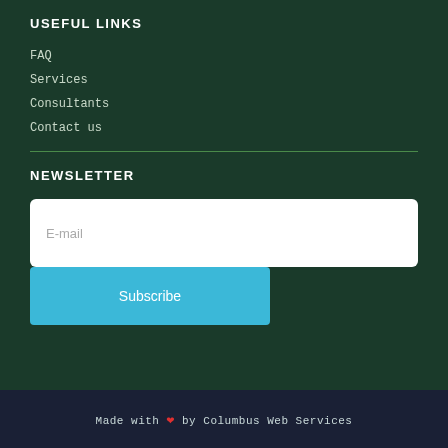USEFUL LINKS
FAQ
Services
Consultants
Contact us
NEWSLETTER
E-mail
Subscribe
Made with ❤ by Columbus Web Services